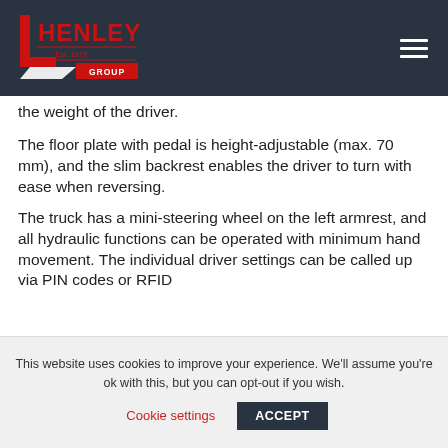Henley Group — Est. 1973
the weight of the driver.
The floor plate with pedal is height-adjustable (max. 70 mm), and the slim backrest enables the driver to turn with ease when reversing.
The truck has a mini-steering wheel on the left armrest, and all hydraulic functions can be operated with minimum hand movement. The individual driver settings can be called up via PIN codes or RFID
This website uses cookies to improve your experience. We'll assume you're ok with this, but you can opt-out if you wish.